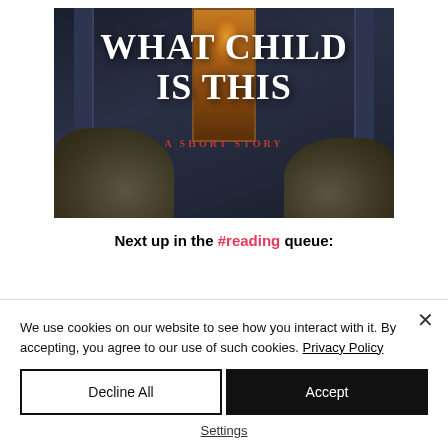[Figure (illustration): Book cover for 'What Child Is This: A Short Story' showing a dark building entrance with sandbags, pillars, and a glowing doorway. White bold title text and red subtitle text overlay the image.]
Next up in the #reading queue:
We use cookies on our website to see how you interact with it. By accepting, you agree to our use of such cookies. Privacy Policy
Decline All
Accept
Settings